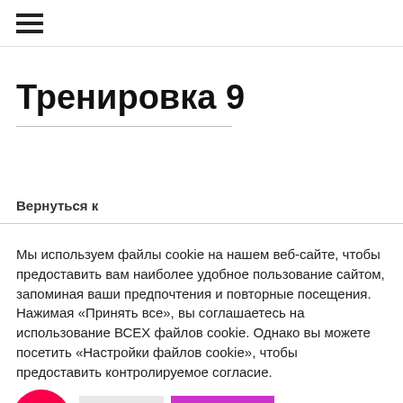≡
Тренировка 9
Вернуться к
Мы используем файлы cookie на нашем веб-сайте, чтобы предоставить вам наиболее удобное пользование сайтом, запоминая ваши предпочтения и повторные посещения. Нажимая «Принять все», вы соглашаетесь на использование ВСЕХ файлов cookie. Однако вы можете посетить «Настройки файлов cookie», чтобы предоставить контролируемое согласие.
Settings | Принять